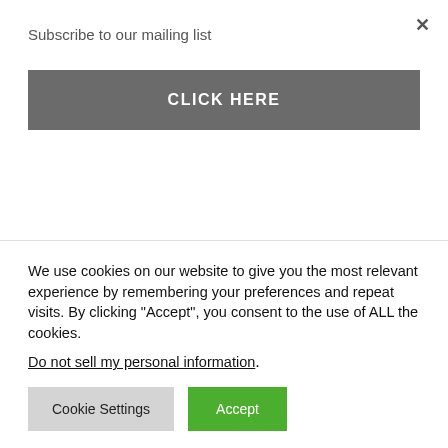Subscribe to our mailing list
CLICK HERE
Professional freelancer and webmaster.
Related
We use cookies on our website to give you the most relevant experience by remembering your preferences and repeat visits. By clicking “Accept”, you consent to the use of ALL the cookies.
Do not sell my personal information.
Cookie Settings
Accept